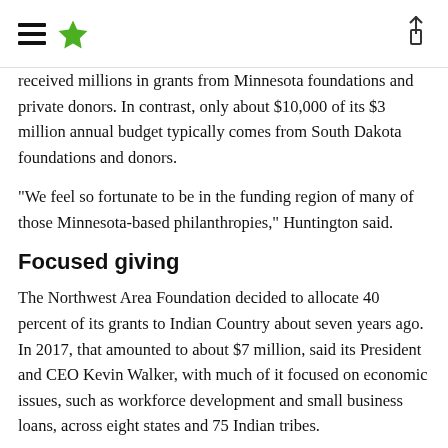hamburger menu and star logo with share icon
received millions in grants from Minnesota foundations and private donors. In contrast, only about $10,000 of its $3 million annual budget typically comes from South Dakota foundations and donors.
“We feel so fortunate to be in the funding region of many of those Minnesota-based philanthropies,” Huntington said.
Focused giving
The Northwest Area Foundation decided to allocate 40 percent of its grants to Indian Country about seven years ago. In 2017, that amounted to about $7 million, said its President and CEO Kevin Walker, with much of it focused on economic issues, such as workforce development and small business loans, across eight states and 75 Indian tribes.
“For us, it was about making the commitment, building relationships and sticking with it,” Walker said. “And you have to